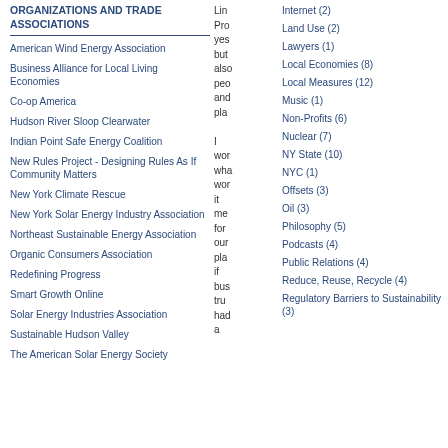ORGANIZATIONS AND TRADE ASSOCIATIONS
American Wind Energy Association
Business Alliance for Local Living Economies
Co-op America
Hudson River Sloop Clearwater
Indian Point Safe Energy Coalition
New Rules Project - Designing Rules As If Community Matters
New York Climate Rescue
New York Solar Energy Industry Association
Northeast Sustainable Energy Association
Organic Consumers Association
Redefining Progress
Smart Growth Online
Solar Energy Industries Association
Sustainable Hudson Valley
The American Solar Energy Society
Lin Prc yes but alső pec anc pla I wor wh wor it me for our pla if bus tru hac a
Internet (2)
Land Use (2)
Lawyers (1)
Local Economies (8)
Local Measures (12)
Music (1)
Non-Profits (6)
Nuclear (7)
NY State (10)
NYC (1)
Offsets (3)
Oil (3)
Philosophy (5)
Podcasts (4)
Public Relations (4)
Reduce, Reuse, Recycle (4)
Regulatory Barriers to Sustainability (3)